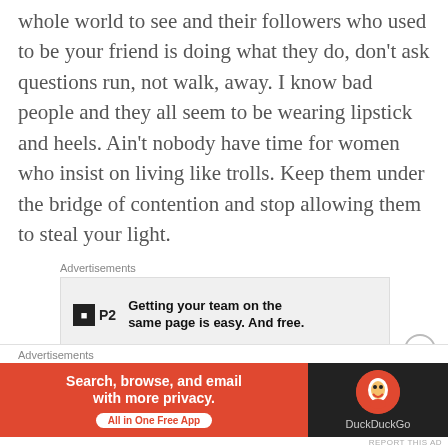whole world to see and their followers who used to be your friend is doing what they do, don't ask questions run, not walk, away. I know bad people and they all seem to be wearing lipstick and heels. Ain't nobody have time for women who insist on living like trolls. Keep them under the bridge of contention and stop allowing them to steal your light.
[Figure (other): P2 advertisement: Getting your team on the same page is easy. And free.]
What appears negative to others may not be negative to you. We all need love and it would be helpful if it was unconditional more so in our darkest hours.
[Figure (other): DuckDuckGo advertisement: Search, browse, and email with more privacy. All in One Free App.]